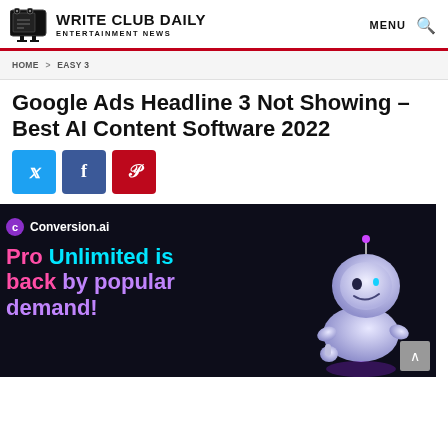WRITE CLUB DAILY | ENTERTAINMENT NEWS
HOME > EASY 3
Google Ads Headline 3 Not Showing – Best AI Content Software 2022
[Figure (screenshot): Social share buttons: Twitter (blue), Facebook (blue), Pinterest (red)]
[Figure (screenshot): Conversion.ai promotional banner on dark background showing 'Pro Unlimited is back by popular demand!' with a robot mascot]